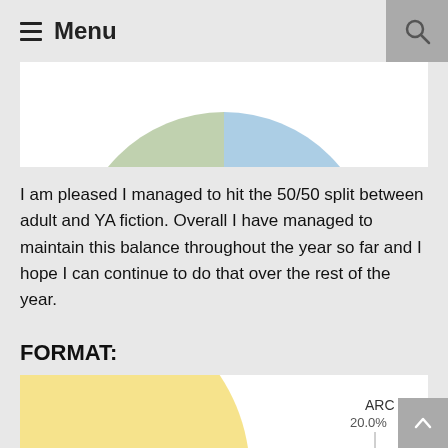Menu
[Figure (pie-chart): Partial pie chart cropped at top, showing green and blue segments]
I am pleased I managed to hit the 50/50 split between adult and YA fiction. Overall I have managed to maintain this balance throughout the year so far and I hope I can continue to do that over the rest of the year.
FORMAT:
[Figure (pie-chart): Format pie chart (partially visible)]